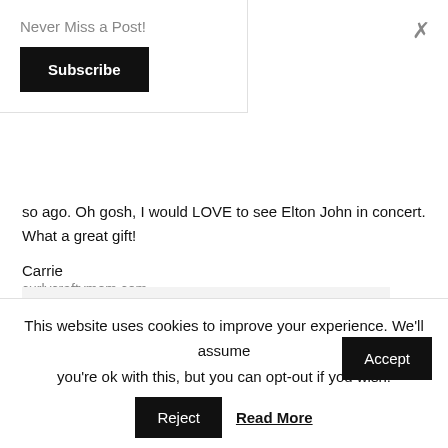Never Miss a Post!
Subscribe
so ago. Oh gosh, I would LOVE to see Elton John in concert. What a great gift!
Carrie
curlycraftymom.com
This site uses cookies to deliver its services and to analyse traffic. By using this site, you agree to its use of cookies. Learn more
ball
This website uses cookies to improve your experience. We'll assume you're ok with this, but you can opt-out if you wish.
Accept
Reject
Read More